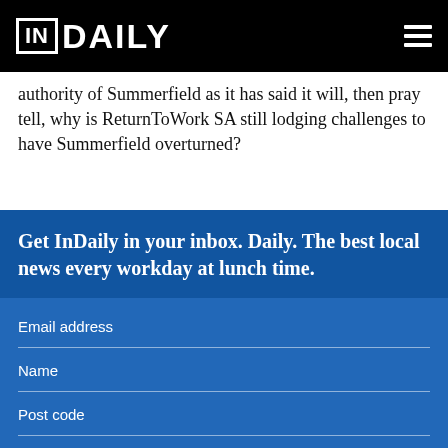IN DAILY
authority of Summerfield as it has said it will, then pray tell, why is ReturnToWork SA still lodging challenges to have Summerfield overturned?
Get InDaily in your inbox. Daily. The best local news every workday at lunch time.
Email address
Name
Post code
I accept the terms & conditions
This site is protected by reCAPTCHA and the Google Privacy Policy and Terms of Service apply.
SUBSCRIBE